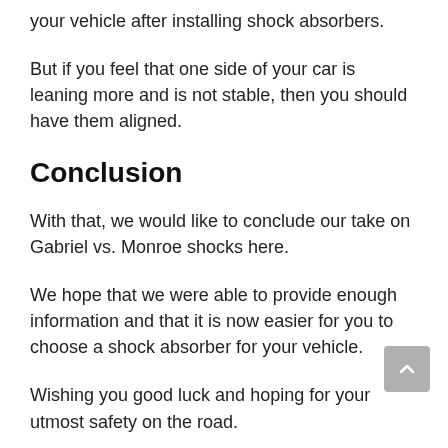your vehicle after installing shock absorbers.
But if you feel that one side of your car is leaning more and is not stable, then you should have them aligned.
Conclusion
With that, we would like to conclude our take on Gabriel vs. Monroe shocks here.
We hope that we were able to provide enough information and that it is now easier for you to choose a shock absorber for your vehicle.
Wishing you good luck and hoping for your utmost safety on the road.